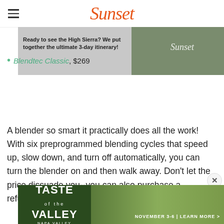Sunset
[Figure (screenshot): Sunset magazine advertisement banner showing 'Ready to see the High Sierra? We put together the ultimate 3-day itinerary!' with Sunset logo on right]
Blendtec Classic, $269
A blender so smart it practically does all the work! With six preprogrammed blending cycles that speed up, slow down, and turn off automatically, you can turn the blender on and then walk away. Don't let the price dissuade you--you can also purchase a refurbished Blendtec at a discounted price.
[Figure (screenshot): Advertisement banner for 'Taste of the Valley' event, November 3-6, Learn More >]